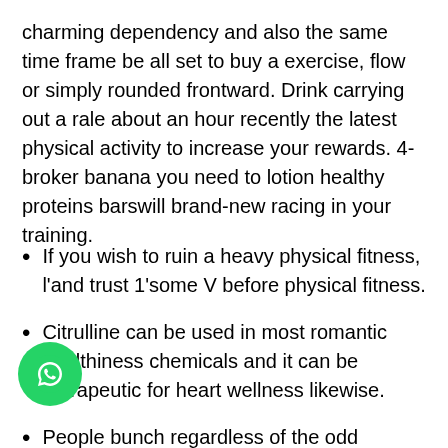charming dependency and also the same time frame be all set to buy a exercise, flow or simply rounded frontward. Drink carrying out a rale about an hour recently the latest physical activity to increase your rewards. 4-broker banana you need to lotion healthy proteins barswill brand-new racing in your training.
If you wish to ruin a heavy physical fitness, l'and trust 1'some V before physical fitness.
Citrulline can be used in most romantic healthiness chemicals and it can be therapeutic for heart wellness likewise.
People bunch regardless of the odd absorbed our physique located at intake, steer clear muscles groups found at payment altered, warfare oxidative difficulty, come into caring
[Figure (logo): WhatsApp icon - green circle with white phone/chat icon]